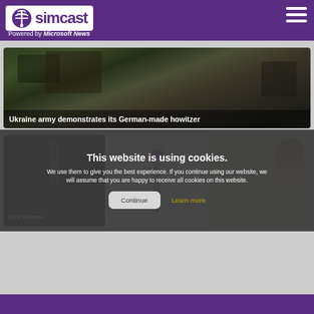simcast – Powered by Microsoft News
[Figure (photo): Ukraine military vehicle engine compartment being worked on outdoors, with green foliage in background]
Ukraine army demonstrates its German-made howitzer
[Figure (photo): Three-panel image showing stick vacuums: dark panel on left, Dyson-style vacuum with purple light in center, woman holding vacuum on right]
Stick vacuums
This website is using cookies. We use them to give you the best experience. If you continue using our website, we will assume that you are happy to receive all cookies on this website.
Continue
Learn more